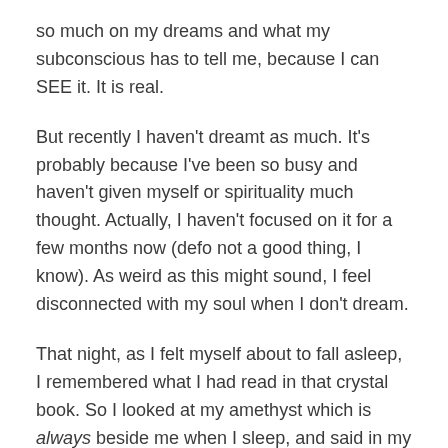so much on my dreams and what my subconscious has to tell me, because I can SEE it. It is real.
But recently I haven't dreamt as much. It's probably because I've been so busy and haven't given myself or spirituality much thought. Actually, I haven't focused on it for a few months now (defo not a good thing, I know). As weird as this might sound, I feel disconnected with my soul when I don't dream.
That night, as I felt myself about to fall asleep, I remembered what I had read in that crystal book. So I looked at my amethyst which is always beside me when I sleep, and said in my head, "help me to dream tonight, show me my next step in life, let it be a sign of something I truly desire."